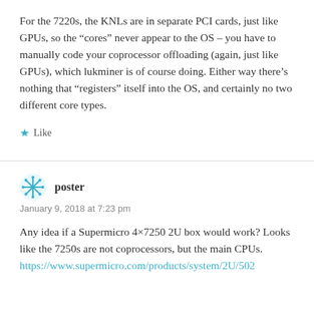For the 7220s, the KNLs are in separate PCI cards, just like GPUs, so the “cores” never appear to the OS – you have to manually code your coprocessor offloading (again, just like GPUs), which lukminer is of course doing. Either way there’s nothing that “registers” itself into the OS, and certainly no two different core types.
★ Like
poster
January 9, 2018 at 7:23 pm
Any idea if a Supermicro 4×7250 2U box would work? Looks like the 7250s are not coprocessors, but the main CPUs.
https://www.supermicro.com/products/system/2U/502